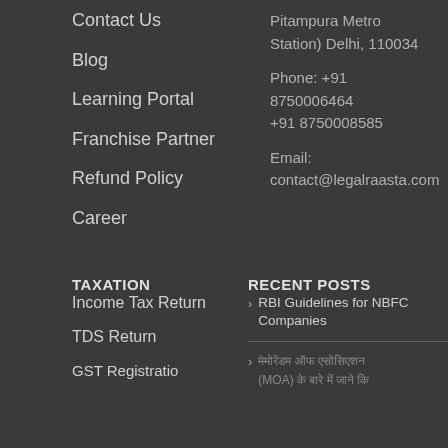Contact Us
Blog
Learning Portal
Franchise Partner
Refund Policy
Career
Pitampura Metro Station) Delhi, 110034
Phone: +91 8750006464 +91 8750008585
Email: contact@legalraasta.com
TAXATION
RECENT POSTS
Income Tax Return
TDS Return
GST Registration
RBI Guidelines for NBFC Companies
मेमोरेंडम ऑफ एसोसिएशन (MOA) के बारे में जाने कि